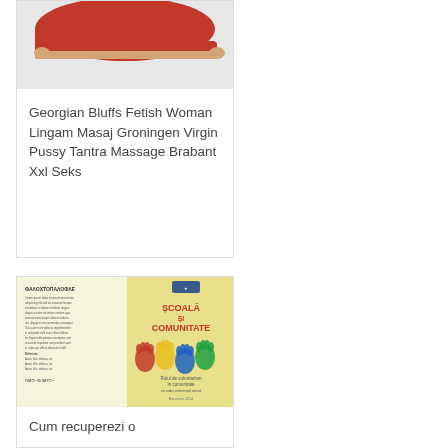[Figure (photo): Red flat shoe on white background, top portion visible]
Georgian Bluffs Fetish Woman Lingam Masaj Groningen Virgin Pussy Tantra Massage Brabant Xxl Seks
[Figure (photo): Book cover for 'Scoala si Comunitate' (School and Community) with colorful handprints on yellow background and text content on left side]
Cum recuperezi o